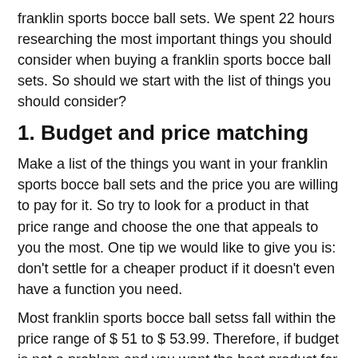franklin sports bocce ball sets. We spent 22 hours researching the most important things you should consider when buying a franklin sports bocce ball sets. So should we start with the list of things you should consider?
1. Budget and price matching
Make a list of the things you want in your franklin sports bocce ball sets and the price you are willing to pay for it. So try to look for a product in that price range and choose the one that appeals to you the most. One tip we would like to give you is: don't settle for a cheaper product if it doesn't even have a function you need.
Most franklin sports bocce ball setss fall within the price range of $ 51 to $ 53.99. Therefore, if budget is not a problem and you want the best product for your needs, we advise you to choose the Franklin Sports Bocce Set – 8 All Weather Bocce Balls, 1 Pallino, and Deluxe Carry Bag – Beach, Backyard, or Outdoor Party Game – Professional Set, Assorted (5012)